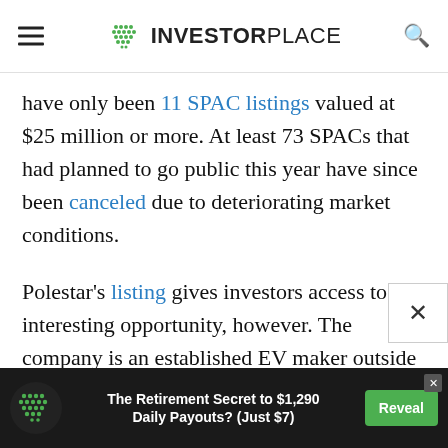INVESTORPLACE
have only been 11 SPAC listings valued at $25 million or more. At least 73 SPACs that had planned to go public this year have since been canceled due to deteriorating market conditions.
Polestar's listing gives investors access to an interesting opportunity, however. The company is an established EV maker outside the U.S. but not headquartered in China. Many EV enthusiasts see its focus on performance vehicles as a differentiator. Investors also like the fact a global automotive giant backs Polestar. All told, expectations are high for PSNY stock once i
[Figure (other): Advertisement banner: InvestorPlace logo, text 'The Retirement Secret to $1,290 Daily Payouts? (Just $7)', green Reveal button]